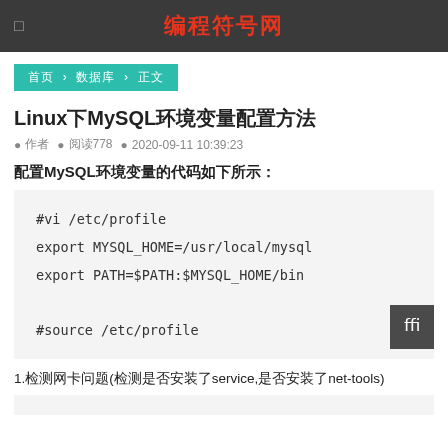编程符号网
首页 › 数据库 › 正文
Linux下MySQL环境变量配置方法
● 作者 ● 阅读778 ● 2020-09-11 10:39:23
配置MySQL环境变量的代码如下所示：
#vi /etc/profile
export MYSQL_HOME=/usr/local/mysql
export PATH=$PATH:$MYSQL_HOME/bin
#source /etc/profile
1.检测网卡问题(检测是否安装了service,是否安装了net-tools)